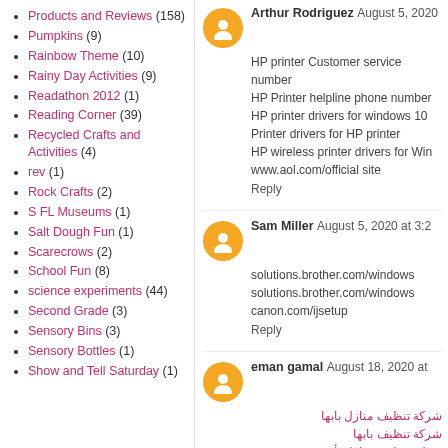Products and Reviews (158)
Pumpkins (9)
Rainbow Theme (10)
Rainy Day Activities (9)
Readathon 2012 (1)
Reading Corner (39)
Recycled Crafts and Activities (4)
rev (1)
Rock Crafts (2)
S FL Museums (1)
Salt Dough Fun (1)
Scarecrows (2)
School Fun (8)
science experiments (44)
Second Grade (3)
Sensory Bins (3)
Sensory Bottles (1)
Show and Tell Saturday (1)
Arthur Rodriguez August 5, 2020
HP printer Customer service number HP Printer helpline phone number HP printer drivers for windows 10 Printer drivers for HP printer HP wireless printer drivers for Windows www.aol.com/official site
Reply
Sam Miller August 5, 2020 at 3:2
solutions.brother.com/windows solutions.brother.com/windows canon.com/ijsetup
Reply
eman gamal August 18, 2020 at
شركة تنظيف منازل بابها
شركة تنظيف بابها
شركة تنظيف منازل بأحد رفيدة
شركة تنظيف بوادي بن هشبل